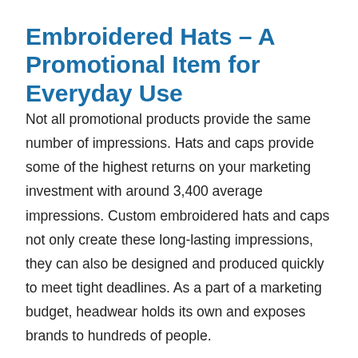Embroidered Hats – A Promotional Item for Everyday Use
Not all promotional products provide the same number of impressions. Hats and caps provide some of the highest returns on your marketing investment with around 3,400 average impressions. Custom embroidered hats and caps not only create these long-lasting impressions, they can also be designed and produced quickly to meet tight deadlines. As a part of a marketing budget, headwear holds its own and exposes brands to hundreds of people.